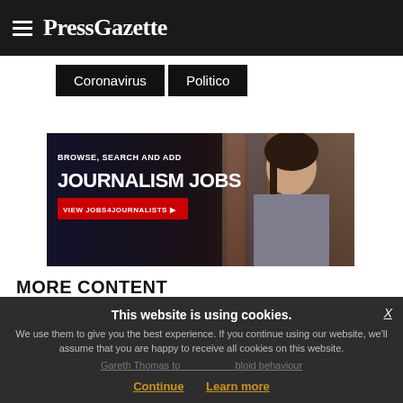PressGazette
Coronavirus
Politico
[Figure (photo): Advertisement banner: BROWSE, SEARCH AND ADD JOURNALISM JOBS - VIEW JOBS4JOURNALISTS with woman in background]
MORE CONTENT
This website is using cookies. We use them to give you the best experience. If you continue using our website, we'll assume that you are happy to receive all cookies on this website. Continue  Learn more